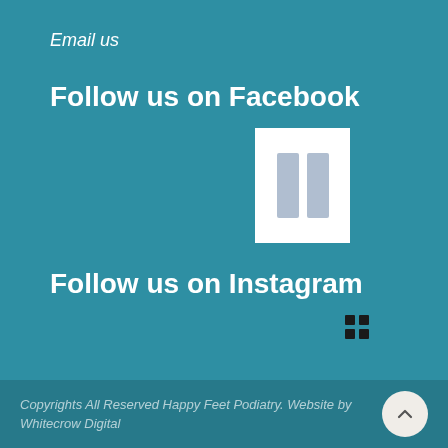Email us
Follow us on Facebook
[Figure (other): Facebook widget placeholder showing two grey vertical bars on white background]
Follow us on Instagram
[Figure (other): Instagram widget placeholder showing four small dark dots in a 2x2 grid]
Copyrights All Reserved Happy Feet Podiatry. Website by Whitecrow Digital